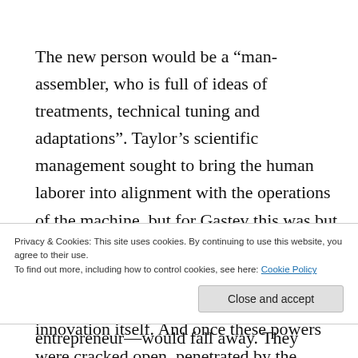The new person would be a “man-assembler, who is full of ideas of treatments, technical tuning and adaptations”. Taylor’s scientific management sought to bring the human laborer into alignment with the operations of the machine, but for Gastev this was but only the first step. Everything was to be optimized in conjunction with the machine, including creativity and the drive to innovation itself. And once these powers were cracked open, penetrated by the
Privacy & Cookies: This site uses cookies. By continuing to use this website, you agree to their use.
To find out more, including how to control cookies, see here: Cookie Policy
Close and accept
entrepreneur—would fall away. They would be universal,